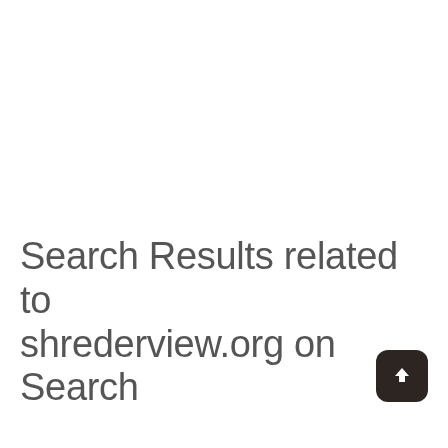Search Results related to shrederview.org on Search
[Figure (other): Dark rounded-rectangle button with a white upward arrow icon (scroll-to-top button)]